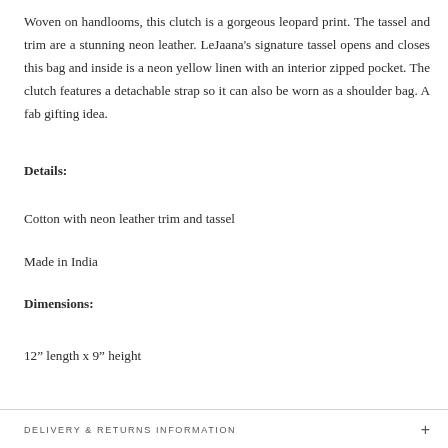Woven on handlooms, this clutch is a gorgeous leopard print. The tassel and trim are a stunning neon leather. LeJaana's signature tassel opens and closes this bag and inside is a neon yellow linen with an interior zipped pocket. The clutch features a detachable strap so it can also be worn as a shoulder bag. A fab gifting idea.
Details:
Cotton with neon leather trim and tassel
Made in India
Dimensions:
12” length x 9” height
DELIVERY & RETURNS INFORMATION